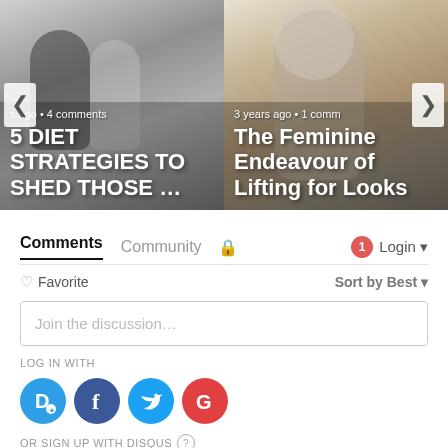[Figure (screenshot): Carousel with two article thumbnails: left shows '5 DIET STRATEGIES TO SHED THOSE ...' with meta 's ago • 4 comments', right shows 'The Feminine Endeavour of Lifting for Looks' with meta '3 years ago • 1 comm'. Navigation arrows on sides.]
Comments  Community  🔒  1  Login
♡ Favorite  Sort by Best
Join the discussion…
LOG IN WITH
[Figure (infographic): Social login icons: Disqus (blue circle D), Facebook (dark blue circle f), Twitter (light blue circle bird), Google (red circle G)]
OR SIGN UP WITH DISQUS ?